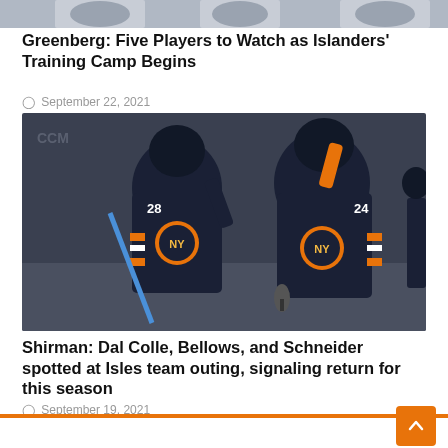[Figure (photo): Top portion of a hockey photo, partially cropped, showing players in New York Islanders uniforms]
Greenberg: Five Players to Watch as Islanders' Training Camp Begins
September 22, 2021
[Figure (photo): Two New York Islanders hockey players in dark navy jerseys with NY logo, numbers 28 and 24, celebrating on ice]
Shirman: Dal Colle, Bellows, and Schneider spotted at Isles team outing, signaling return for this season
September 19, 2021